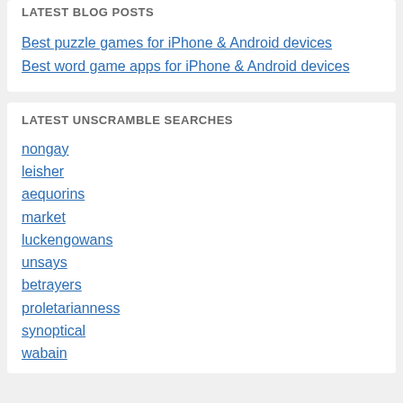LATEST BLOG POSTS
Best puzzle games for iPhone & Android devices
Best word game apps for iPhone & Android devices
LATEST UNSCRAMBLE SEARCHES
nongay
leisher
aequorins
market
luckengowans
unsays
betrayers
proletarianness
synoptical
wabain